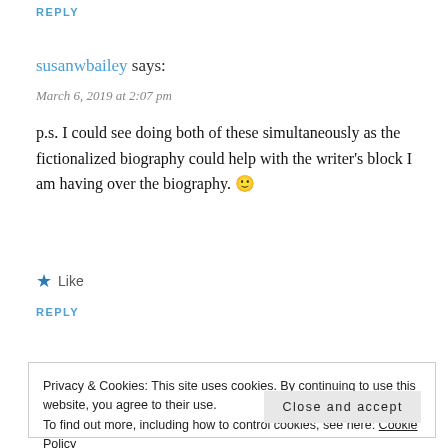REPLY
susanwbailey says:
March 6, 2019 at 2:07 pm
p.s. I could see doing both of these simultaneously as the fictionalized biography could help with the writer's block I am having over the biography. 🙂
★ Like
REPLY
Privacy & Cookies: This site uses cookies. By continuing to use this website, you agree to their use.
To find out more, including how to control cookies, see here: Cookie Policy
Close and accept